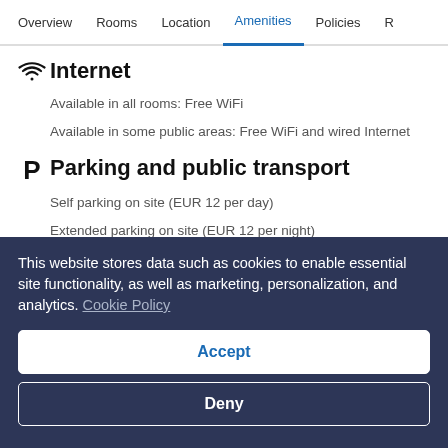Overview  Rooms  Location  Amenities  Policies  R
Internet
Available in all rooms: Free WiFi
Available in some public areas: Free WiFi and wired Internet
Parking and public transport
Self parking on site (EUR 12 per day)
Extended parking on site (EUR 12 per night)
Wheelchair-accessible parking available
This website stores data such as cookies to enable essential site functionality, as well as marketing, personalization, and analytics. Cookie Policy
Accept
Deny